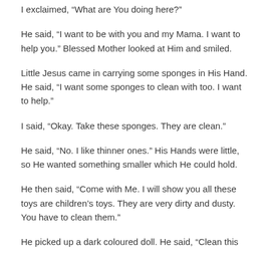I exclaimed, “What are You doing here?”
He said, “I want to be with you and my Mama. I want to help you.” Blessed Mother looked at Him and smiled.
Little Jesus came in carrying some sponges in His Hand. He said, “I want some sponges to clean with too. I want to help.”
I said, “Okay. Take these sponges. They are clean.”
He said, “No. I like thinner ones.” His Hands were little, so He wanted something smaller which He could hold.
He then said, “Come with Me. I will show you all these toys are children’s toys. They are very dirty and dusty. You have to clean them.”
He picked up a dark coloured doll. He said, “Clean this